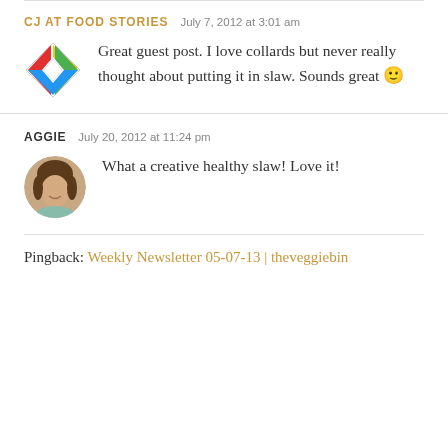CJ AT FOOD STORIES   July 7, 2012 at 3:01 am
Great guest post. I love collards but never really thought about putting it in slaw. Sounds great 🙂
AGGIE   July 20, 2012 at 11:24 pm
What a creative healthy slaw! Love it!
Pingback: Weekly Newsletter 05-07-13 | theveggiebin